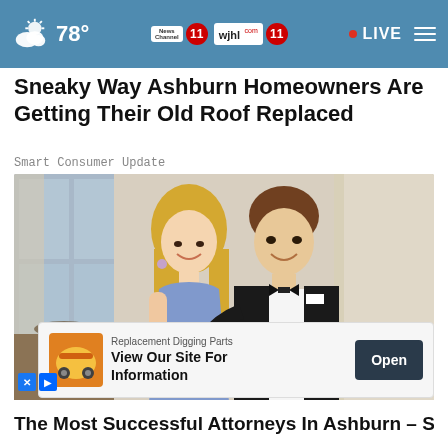78° · News Channel 11 wjhl 11 · LIVE
Sneaky Way Ashburn Homeowners Are Getting Their Old Roof Replaced
Smart Consumer Update
[Figure (photo): A couple dressed formally — a blonde woman in a blue dress and a man in a black tuxedo — posing together indoors at an elegant venue]
[Figure (infographic): Advertisement overlay: Replacement Digging Parts – View Our Site For Information – Open button]
The Most Successful Attorneys In Ashburn – See